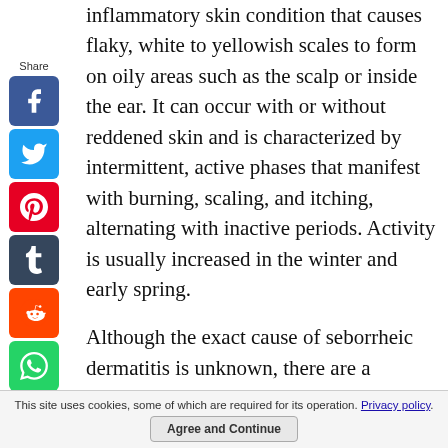inflammatory skin condition that causes flaky, white to yellowish scales to form on oily areas such as the scalp or inside the ear. It can occur with or without reddened skin and is characterized by intermittent, active phases that manifest with burning, scaling, and itching, alternating with inactive periods. Activity is usually increased in the winter and early spring.
Although the exact cause of seborrheic dermatitis is unknown, there are a number of possible causes. These
This site uses cookies, some of which are required for its operation. Privacy policy.